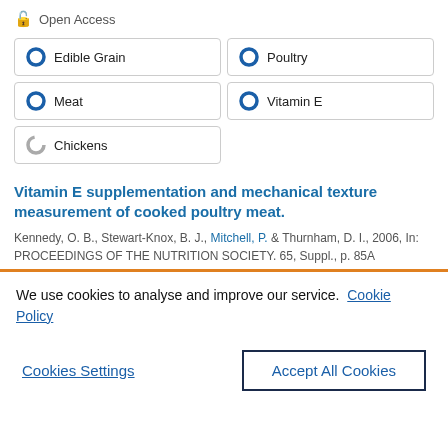Open Access
Edible Grain
Poultry
Meat
Vitamin E
Chickens
Vitamin E supplementation and mechanical texture measurement of cooked poultry meat.
Kennedy, O. B., Stewart-Knox, B. J., Mitchell, P. & Thurnham, D. I., 2006, In: PROCEEDINGS OF THE NUTRITION SOCIETY. 65, Suppl., p. 85A
We use cookies to analyse and improve our service. Cookie Policy
Cookies Settings
Accept All Cookies